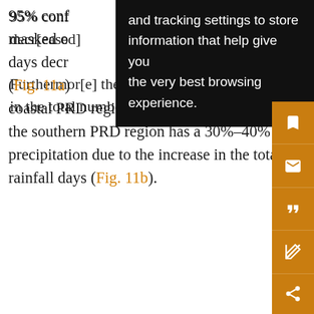95% conf[idence interval], masked o[ut], on days decr[eased], regi[on] (Fig. 11a) [... text continues ...] ern coastal PRD region (e.g., SZ, ZS, and ZH). Furthermore the southern PRD region has a 30%–40% increase in to[tal] precipitation due to the increase in the total number of rainfall days (Fig. 11b).
[Figure (screenshot): Browser tooltip/cookie consent popup overlay with black background and white text reading: 'and tracking settings to store information that help give you the very best browsing experience.']
[Figure (screenshot): Orange sidebar with save, email, cite, annotate, and share icon buttons]